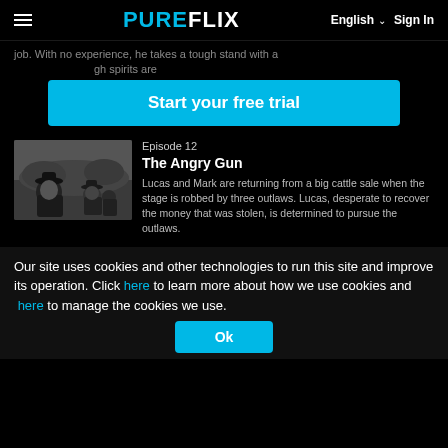PUREFLIX  English  Sign In
job. With no experience, he takes a tough stand with a ... gh spirits are
Start your free trial
[Figure (photo): Black and white still from a Western TV show, showing two people outdoors.]
Episode 12
The Angry Gun
Lucas and Mark are returning from a big cattle sale when the stage is robbed by three outlaws. Lucas, desperate to recover the money that was stolen, is determined to pursue the outlaws.
Our site uses cookies and other technologies to run this site and improve its operation. Click here to learn more about how we use cookies and here to manage the cookies we use.
Ok